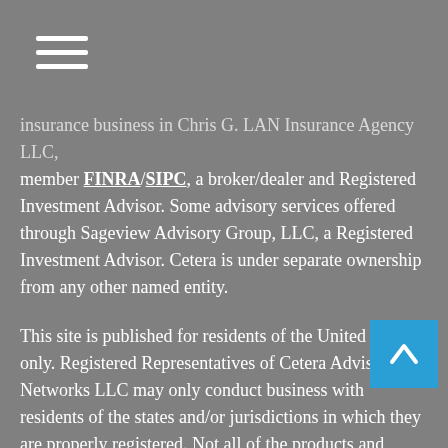[hamburger menu icon]
insurance business in Chris G. LAN Insurance Agency LLC, member FINRA/SIPC, a broker/dealer and Registered Investment Advisor. Some advisory services offered through Sageview Advisory Group, LLC, a Registered Investment Advisor. Cetera is under separate ownership from any other named entity.
This site is published for residents of the United States only. Registered Representatives of Cetera Advisor Networks LLC may only conduct business with residents of the states and/or jurisdictions in which they are properly registered. Not all of the products and services referenced on this site may be available in every state and through every representative listed. For additional information please contact the representative(s) listed on the site, visit the Cetera Advisor Networks LLC site at ceteraadvisornetworks.com
Important Disclosures | Business Continuity
SageView Form CRS / ADV Part III